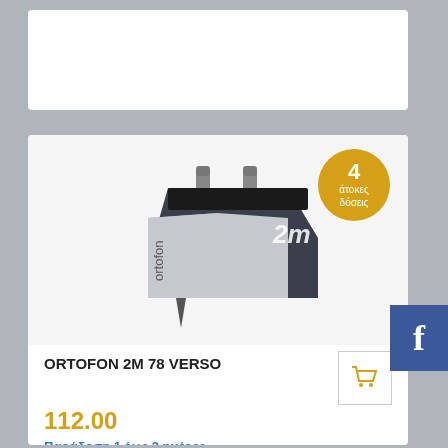[Figure (photo): White banner/ad card at top of page, blank white rectangle]
[Figure (photo): Ortofon 2M 78 Verso phono cartridge product image on grey/white background, with gold badge showing '4 άτοκες δόσεις' (4 interest-free installments)]
ORTOFON 2M 78 VERSO
112.00
Παράδοση 1 έως 3 ημέρες
The 2M Red Verso model is an